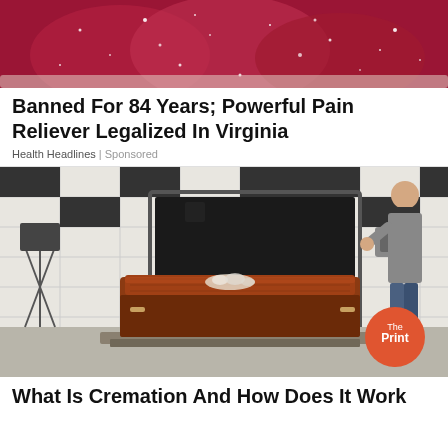[Figure (photo): Close-up photo of red glittery high-heel shoes being held]
Banned For 84 Years; Powerful Pain Reliever Legalized In Virginia
Health Headlines | Sponsored
[Figure (photo): Photo of a wooden coffin on a trolley being pushed into a cremation furnace, with a person standing to the right pressing a button. The Print logo visible in the bottom right corner.]
What Is Cremation And How Does It Work